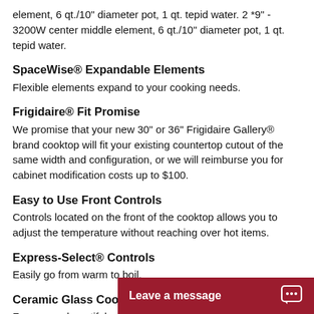element, 6 qt./10" diameter pot, 1 qt. tepid water. 2 *9" - 3200W center middle element, 6 qt./10" diameter pot, 1 qt. tepid water.
SpaceWise® Expandable Elements
Flexible elements expand to your cooking needs.
Frigidaire® Fit Promise
We promise that your new 30" or 36" Frigidaire Gallery® brand cooktop will fit your existing countertop cutout of the same width and configuration, or we will reimburse you for cabinet modification costs up to $100.
Easy to Use Front Controls
Controls located on the front of the cooktop allows you to adjust the temperature without reaching over hot items.
Express-Select® Controls
Easily go from warm to boil.
Ceramic Glass Cooktop
For a more beautiful cooktop that's easy to clean.
Hot Surface Indica
Leave a message